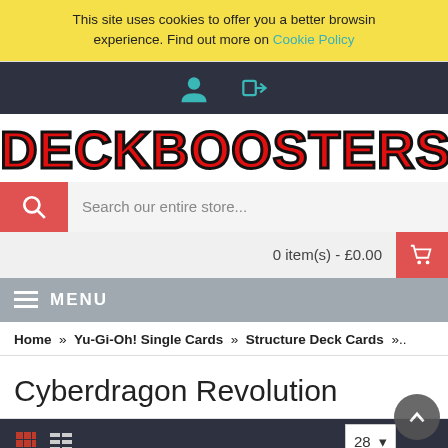This site uses cookies to offer you a better browsing experience. Find out more on Cookie Policy
[Figure (screenshot): Dark navigation bar with user account icon and login arrow icon]
[Figure (logo): DeckBoosters logo in red bold text with black outline]
Search our entire store...
0 item(s) - £0.00
MENU
Home » Yu-Gi-Oh! Single Cards » Structure Deck Cards »..
Cyberdragon Revolution
28